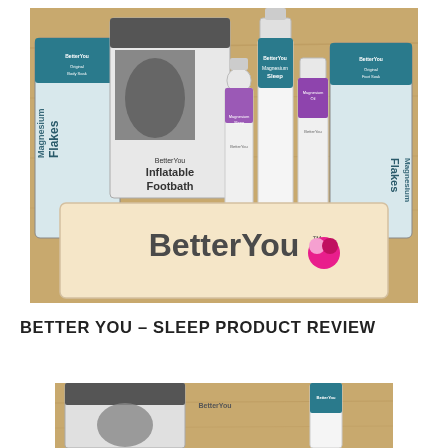[Figure (photo): A collection of BetterYou magnesium products including Magnesium Flakes bags, body lotion bottles, Magnesium Sleep spray, Magnesium Oil, an Inflatable Footbath package, and a large BetterYou branded tote bag, arranged on a wooden surface.]
BETTER YOU – SLEEP PRODUCT REVIEW
[Figure (photo): Partial view of BetterYou products including packaging and a bottle, cropped at the bottom of the page.]